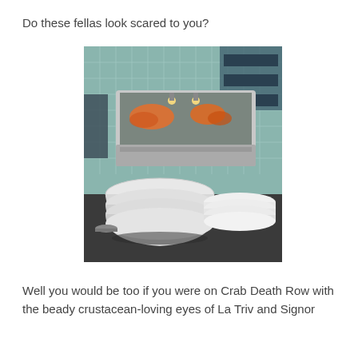Do these fellas look scared to you?
[Figure (photo): A restaurant lobster/crab tank with live crustaceans visible through glass. In the foreground are stacked white bowls and plates on a dark counter. The background shows teal/green tile walls and industrial shelving.]
Well you would be too if you were on Crab Death Row with the beady crustacean-loving eyes of La Triv and Signor